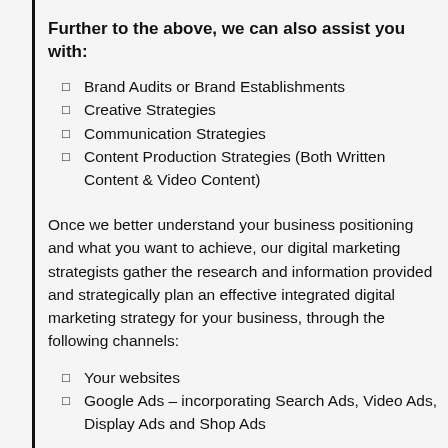Further to the above, we can also assist you with:
Brand Audits or Brand Establishments
Creative Strategies
Communication Strategies
Content Production Strategies (Both Written Content & Video Content)
Once we better understand your business positioning and what you want to achieve, our digital marketing strategists gather the research and information provided and strategically plan an effective integrated digital marketing strategy for your business, through the following channels:
Your websites
Google Ads – incorporating Search Ads, Video Ads, Display Ads and Shop Ads